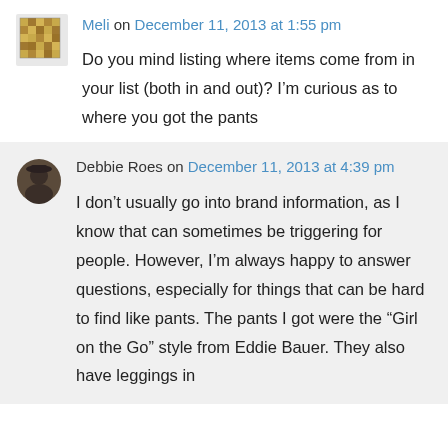[Figure (illustration): User avatar icon — decorative circular mosaic/geometric pattern in gold/yellow tones]
Meli on December 11, 2013 at 1:55 pm
Do you mind listing where items come from in your list (both in and out)? I’m curious as to where you got the pants
[Figure (photo): User avatar photo of Debbie Roes — circular profile photo]
Debbie Roes on December 11, 2013 at 4:39 pm
I don’t usually go into brand information, as I know that can sometimes be triggering for people. However, I’m always happy to answer questions, especially for things that can be hard to find like pants. The pants I got were the “Girl on the Go” style from Eddie Bauer. They also have leggings in